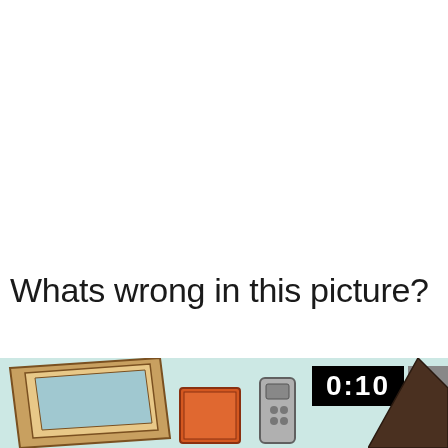Whats wrong in this picture?
[Figure (illustration): Bottom portion of a cartoon/animated scene showing a living room with a TV monitor on the left, some orange and grey remote controls or devices in the middle, and a dark shape on the right. A black timer badge showing '0:10' appears in the upper right of the image panel, with a grey arrow button to its right.]